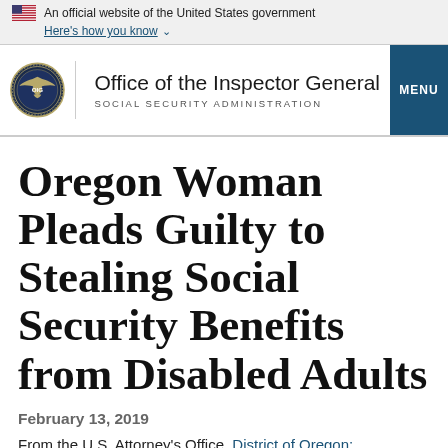An official website of the United States government
Here's how you know
[Figure (logo): OIG seal and Office of the Inspector General Social Security Administration header with MENU button]
Oregon Woman Pleads Guilty to Stealing Social Security Benefits from Disabled Adults
February 13, 2019
From the U.S. Attorney's Office, District of Oregon: